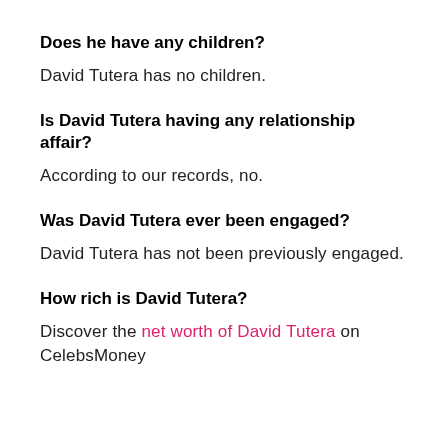Does he have any children?
David Tutera has no children.
Is David Tutera having any relationship affair?
According to our records, no.
Was David Tutera ever been engaged?
David Tutera has not been previously engaged.
How rich is David Tutera?
Discover the net worth of David Tutera on CelebsMoney